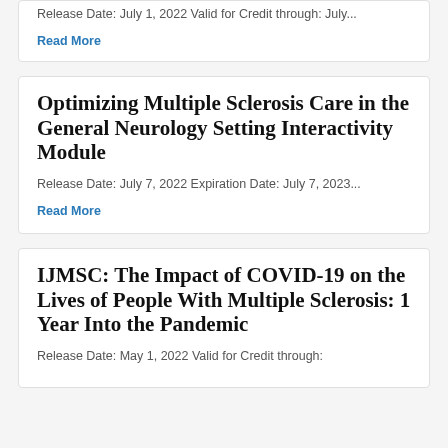Release Date: July 1, 2022 Valid for Credit through: July...
Read More
Optimizing Multiple Sclerosis Care in the General Neurology Setting Interactivity Module
Release Date: July 7, 2022 Expiration Date: July 7, 2023...
Read More
IJMSC: The Impact of COVID-19 on the Lives of People With Multiple Sclerosis: 1 Year Into the Pandemic
Release Date: May 1, 2022 Valid for Credit through: